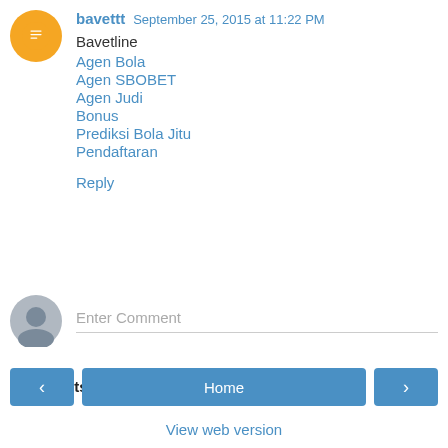bavettt  September 25, 2015 at 11:22 PM
Bavetline
Agen Bola
Agen SBOBET
Agen Judi
Bonus
Prediksi Bola Jitu
Pendaftaran
Reply
Enter Comment
Comments appreciated!
Home
View web version